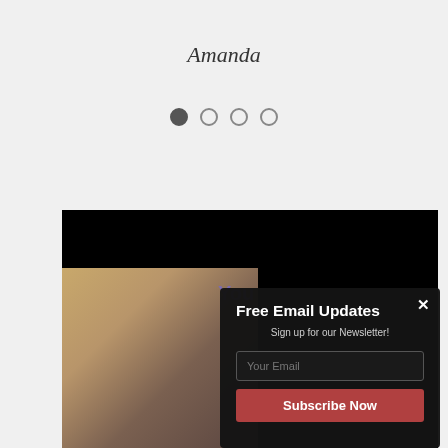Amanda
[Figure (other): Carousel dot indicators: one filled dot followed by three empty circle dots]
[Figure (photo): A screenshot of a website showing a photo of an older woman with white hair wearing a teal and white outfit, standing in front of a yellow and brown background with the word 'You' visible. Overlaid is a dark popup modal for email newsletter signup with the title 'Free Email Updates', subtitle 'Sign up for our Newsletter!', an email input field, and a red 'Subscribe Now' button. A close (x) button is in the top right of the popup.]